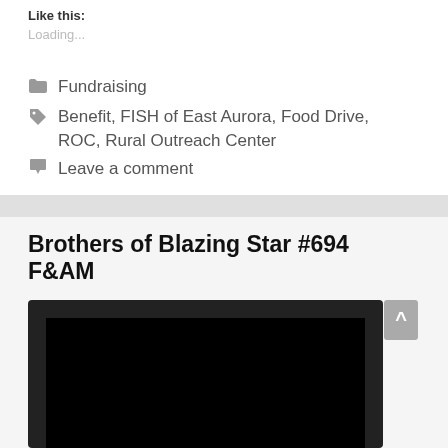Like this:
Loading...
Fundraising
Benefit, FISH of East Aurora, Food Drive, ROC, Rural Outreach Center
Leave a comment
Brothers of Blazing Star #694 F&AM
[Figure (screenshot): A partially visible video player with a dark/black screen, shown at the bottom of the page]